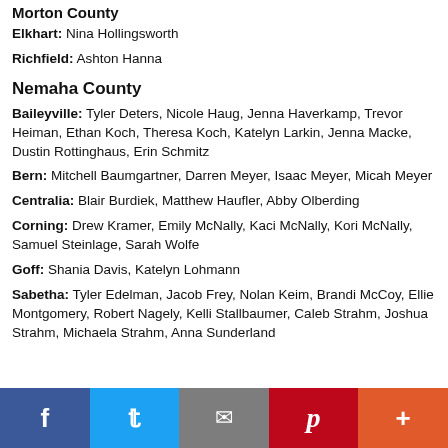Morton County
Elkhart: Nina Hollingsworth
Richfield: Ashton Hanna
Nemaha County
Baileyville: Tyler Deters, Nicole Haug, Jenna Haverkamp, Trevor Heiman, Ethan Koch, Theresa Koch, Katelyn Larkin, Jenna Macke, Dustin Rottinghaus, Erin Schmitz
Bern: Mitchell Baumgartner, Darren Meyer, Isaac Meyer, Micah Meyer
Centralia: Blair Burdiek, Matthew Haufler, Abby Olberding
Corning: Drew Kramer, Emily McNally, Kaci McNally, Kori McNally, Samuel Steinlage, Sarah Wolfe
Goff: Shania Davis, Katelyn Lohmann
Sabetha: Tyler Edelman, Jacob Frey, Nolan Keim, Brandi McCoy, Ellie Montgomery, Robert Nagely, Kelli Stallbaumer, Caleb Strahm, Joshua Strahm, Michaela Strahm, Anna Sunderland
Social sharing bar: Facebook, Twitter, Email, Pinterest, More